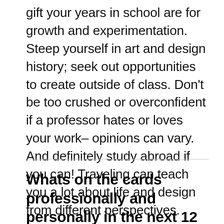gift your years in school are for growth and experimentation. Steep yourself in art and design history; seek out opportunities to create outside of class. Don't be too crushed or overconfident if a professor hates or loves your work– opinions can vary. And definitely study abroad if you can! Traveling can teach you a lot about life and design from different perspectives.
Whats on the cards professionally and personally in the next 12 months?